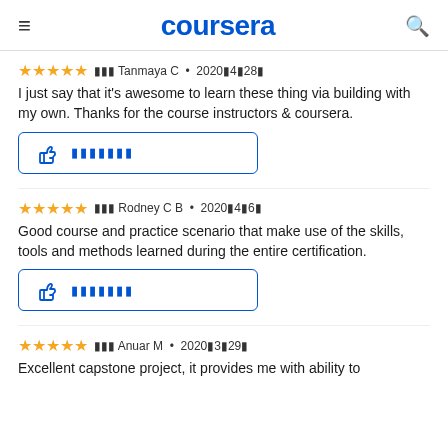coursera
★★★★★  ▣▣▣ Tanmaya C • 2020▣4▣28▣
I just say that it's awesome to learn these thing via building with my own. Thanks for the course instructors & coursera.
[Figure (other): Helpful button with thumbs up icon and placeholder text]
★★★★★  ▣▣▣ Rodney C B • 2020▣4▣6▣
Good course and practice scenario that make use of the skills, tools and methods learned during the entire certification.
[Figure (other): Helpful button with thumbs up icon and placeholder text]
★★★★★  ▣▣▣ Anuar M • 2020▣3▣29▣
Excellent capstone project, it provides me with ability to